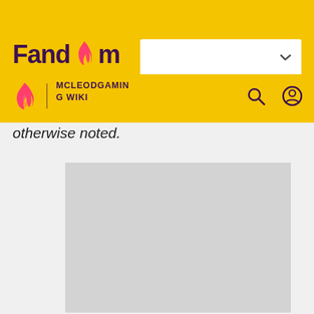[Figure (screenshot): Fandom website header with yellow background showing Fandom logo and McLeodGaming Wiki navigation bar with search and user icons]
otherwise noted.
[Figure (photo): Gray placeholder image box]